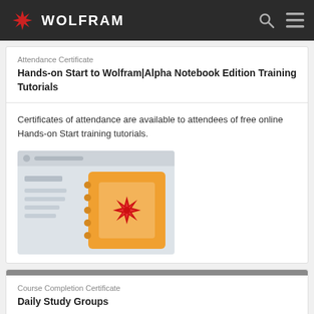WOLFRAM
Attendance Certificate
Hands-on Start to Wolfram|Alpha Notebook Edition Training Tutorials
Certificates of attendance are available to attendees of free online Hands-on Start training tutorials.
[Figure (illustration): Screenshot preview of a Wolfram Notebook with an orange notebook icon featuring the Wolfram snowflake logo.]
Course Completion Certificate
Daily Study Groups
Earn certificate of program completion by attending online